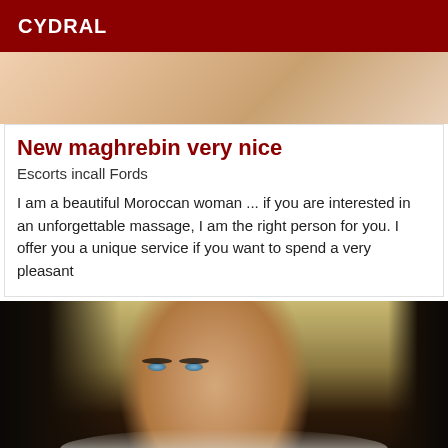CYDRAL
[Figure (photo): Partial close-up photo showing skin/body, beige and warm tones]
New maghrebin very nice
Escorts incall Fords
I am a beautiful Moroccan woman ... if you are interested in an unforgettable massage, I am the right person for you. I offer you a unique service if you want to spend a very pleasant
[Figure (photo): Portrait photo of a young woman with long dark hair and blue/green eyes, wearing a white top]